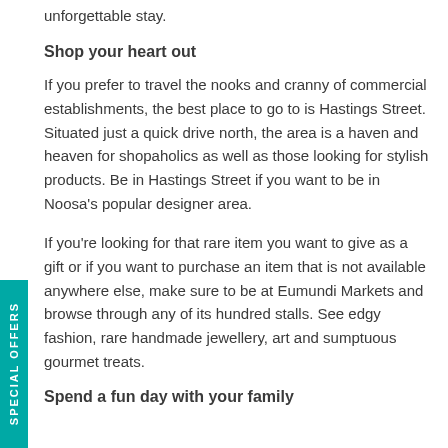unforgettable stay.
Shop your heart out
If you prefer to travel the nooks and cranny of commercial establishments, the best place to go to is Hastings Street. Situated just a quick drive north, the area is a haven and heaven for shopaholics as well as those looking for stylish products. Be in Hastings Street if you want to be in Noosa's popular designer area.
If you're looking for that rare item you want to give as a gift or if you want to purchase an item that is not available anywhere else, make sure to be at Eumundi Markets and browse through any of its hundred stalls. See edgy fashion, rare handmade jewellery, art and sumptuous gourmet treats.
Spend a fun day with your family